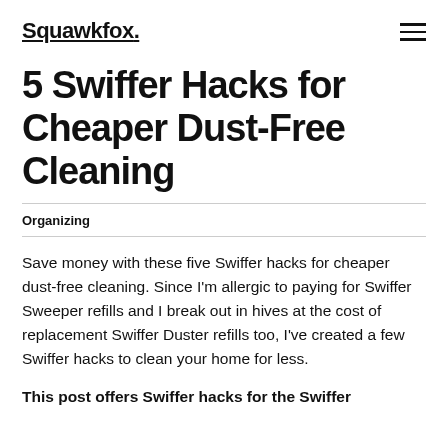Squawkfox.
5 Swiffer Hacks for Cheaper Dust-Free Cleaning
Organizing
Save money with these five Swiffer hacks for cheaper dust-free cleaning. Since I'm allergic to paying for Swiffer Sweeper refills and I break out in hives at the cost of replacement Swiffer Duster refills too, I've created a few Swiffer hacks to clean your home for less.
This post offers Swiffer hacks for the Swiffer